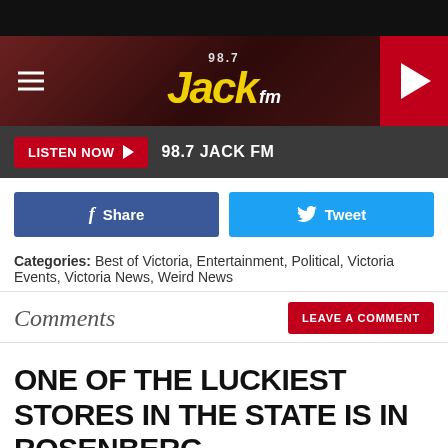[Figure (screenshot): 98.7 Jack FM radio station website header with logo on dark red textured background, hamburger menu on left, play button on right]
LISTEN NOW ▶  98.7 JACK FM
f  Share
Tweet
Categories: Best of Victoria, Entertainment, Political, Victoria Events, Victoria News, Weird News
Comments
LEAVE A COMMENT
ONE OF THE LUCKIEST STORES IN THE STATE IS IN ROSENBERG